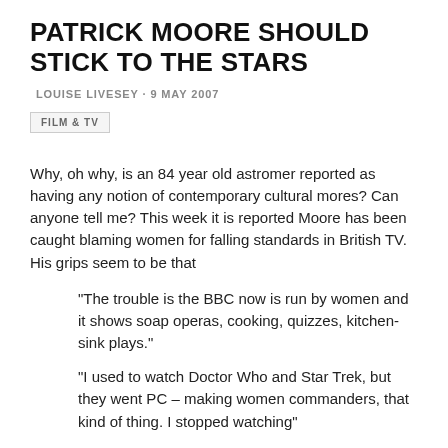PATRICK MOORE SHOULD STICK TO THE STARS
LOUISE LIVESEY · 9 MAY 2007
FILM & TV
Why, oh why, is an 84 year old astromer reported as having any notion of contemporary cultural mores? Can anyone tell me? This week it is reported Moore has been caught blaming women for falling standards in British TV. His grips seem to be that
“The trouble is the BBC now is run by women and it shows soap operas, cooking, quizzes, kitchen-sink plays.”
“I used to watch Doctor Who and Star Trek, but they went PC – making women commanders, that kind of thing. I stopped watching”
“female newsreaders [are] “jokey” ” From BBC website